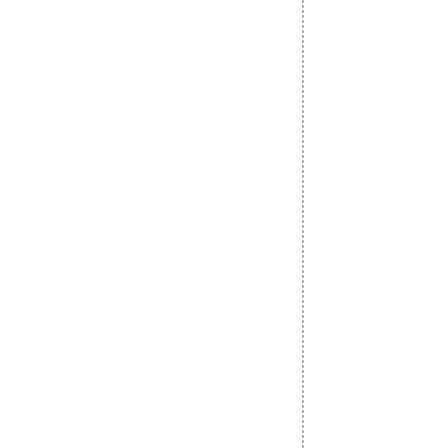edited by Carlos Tejeda , Corinne M